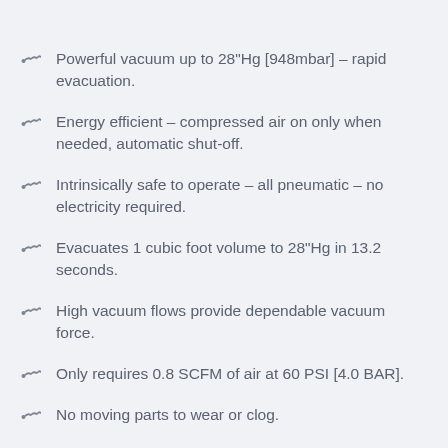Powerful vacuum up to 28"Hg [948mbar] – rapid evacuation.
Energy efficient – compressed air on only when needed, automatic shut-off.
Intrinsically safe to operate – all pneumatic – no electricity required.
Evacuates 1 cubic foot volume to 28"Hg in 13.2 seconds.
High vacuum flows provide dependable vacuum force.
Only requires 0.8 SCFM of air at 60 PSI [4.0 BAR].
No moving parts to wear or clog.
Very quiet – noise level = 58dB.